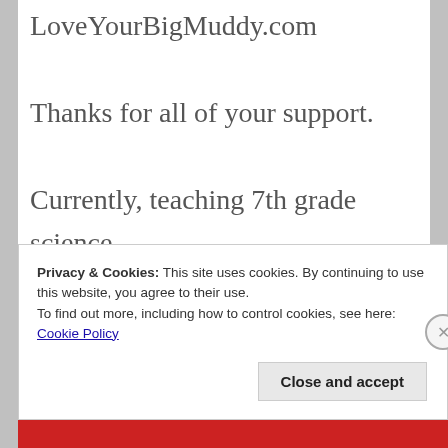LoveYourBigMuddy.com
Thanks for all of your support.
Currently, teaching 7th grade science is my greatest adventure, and challenge. But, we got this!
Do what you love and love what you do.
Privacy & Cookies: This site uses cookies. By continuing to use this website, you agree to their use.
To find out more, including how to control cookies, see here:
Cookie Policy
Close and accept